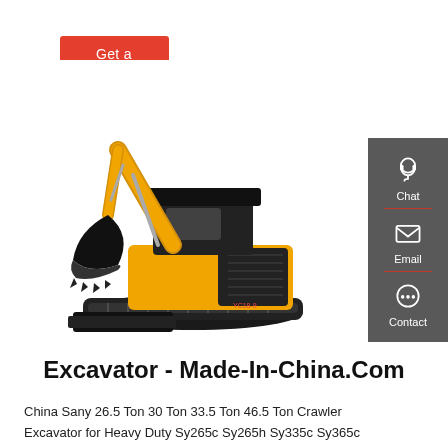Get a quote
[Figure (photo): Yellow and black mini crawler excavator (model YC18-9) with bucket arm raised, on white background, made by YUCHAI or similar brand]
[Figure (infographic): Dark grey sidebar with Chat, Email, Contact icons and labels]
Excavator - Made-In-China.Com
China Sany 26.5 Ton 30 Ton 33.5 Ton 46.5 Ton Crawler Excavator for Heavy Duty Sy265c Sy265h Sy335c Sy365c